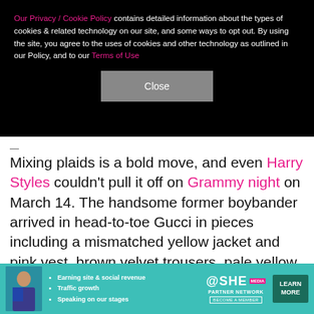Our Privacy / Cookie Policy contains detailed information about the types of cookies & related technology on our site, and some ways to opt out. By using the site, you agree to the uses of cookies and other technology as outlined in our Policy, and to our Terms of Use
Close
—
Mixing plaids is a bold move, and even Harry Styles couldn't pull it off on Grammy night on March 14. The handsome former boybander arrived in head-to-toe Gucci in pieces including a mismatched yellow jacket and pink vest, brown velvet trousers, pale yellow boots and a lilac boa to top things off. Though the look landed him among the worst dressed stars of the night, at least this ensemble can't be called boring!
X
[Figure (infographic): SHE Partner Network advertisement banner with photo of woman, bullet points about earning site & social revenue, traffic growth, speaking on stages, SHE Partner Network logo, and LEARN MORE button]